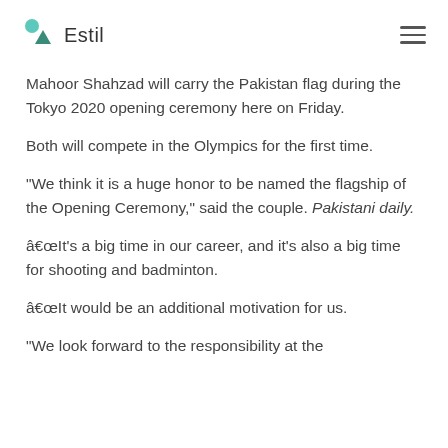Estil
Mahoor Shahzad will carry the Pakistan flag during the Tokyo 2020 opening ceremony here on Friday. Both will compete in the Olympics for the first time.
“We think it is a huge honor to be named the flagship of the Opening Ceremony,” said the couple. Pakistani daily.
â€œIt’s a big time in our career, and it’s also a big time for shooting and badminton.
â€œIt would be an additional motivation for us.
“We look forward to the responsibility at the